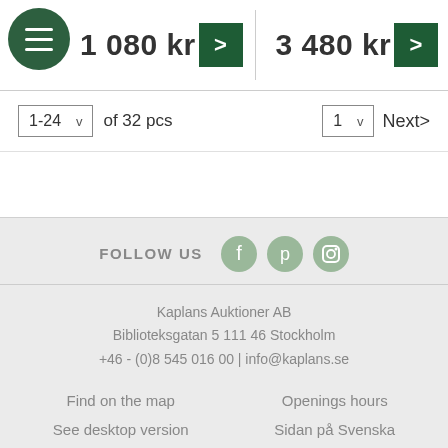1 080 kr
3 480 kr
1-24 v  of 32 pcs
1 v  Next>
FOLLOW US
Kaplans Auktioner AB
Biblioteksgatan 5 111 46 Stockholm
+46 - (0)8 545 016 00 | info@kaplans.se
Find on the map
Openings hours
See desktop version
Sidan på Svenska